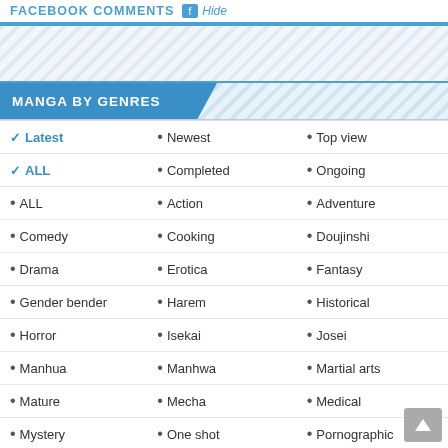FACEBOOK COMMENTS  Hide
MANGA BY GENRES
✓ Latest  • Newest  • Top view
✓ ALL  • Completed  • Ongoing
• ALL  • Action  • Adventure
• Comedy  • Cooking  • Doujinshi
• Drama  • Erotica  • Fantasy
• Gender bender  • Harem  • Historical
• Horror  • Isekai  • Josei
• Manhua  • Manhwa  • Martial arts
• Mature  • Mecha  • Medical
• Mystery  • One shot  • Pornographic